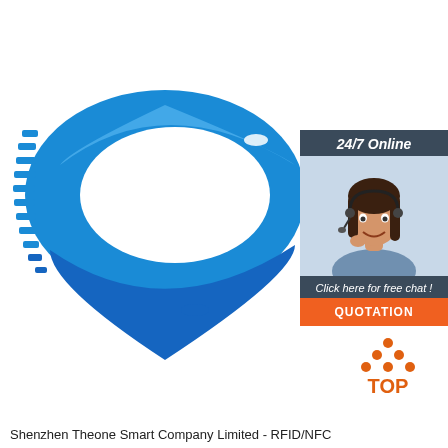[Figure (photo): Blue silicone RFID/NFC wristband with spiky texture on the left side, shown on white background]
[Figure (infographic): Customer service chat widget showing '24/7 Online' header, photo of female customer service agent with headset, 'Click here for free chat!' text, and orange QUOTATION button]
[Figure (logo): Orange dots forming triangle with 'TOP' text below in orange]
Shenzhen Theone Smart Company Limited - RFID/NFC